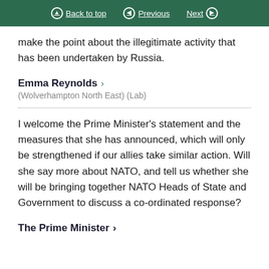Back to top | Previous | Next
make the point about the illegitimate activity that has been undertaken by Russia.
Emma Reynolds
(Wolverhampton North East) (Lab)
I welcome the Prime Minister’s statement and the measures that she has announced, which will only be strengthened if our allies take similar action. Will she say more about NATO, and tell us whether she will be bringing together NATO Heads of State and Government to discuss a co-ordinated response?
The Prime Minister